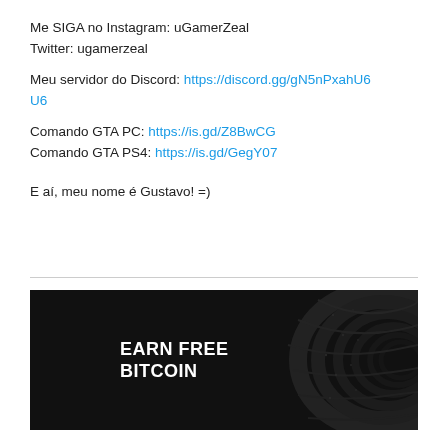Me SIGA no Instagram: uGamerZeal
Twitter: ugamerzeal
Meu servidor do Discord: https://discord.gg/gN5nPxahU6
Comando GTA PC: https://is.gd/Z8BwCG
Comando GTA PS4: https://is.gd/GegY07

E aí, meu nome é Gustavo! =)
[Figure (illustration): Dark banner advertisement with text EARN FREE BITCOIN in white bold uppercase font on a black background with abstract dark wave/texture pattern on the right side]